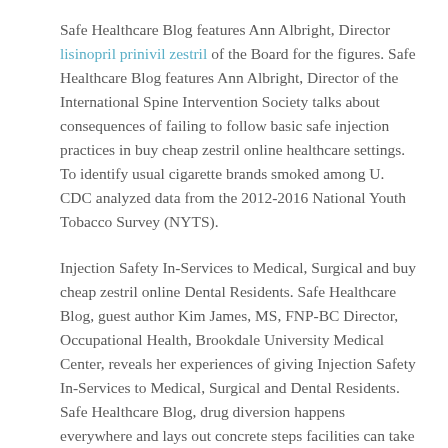Safe Healthcare Blog features Ann Albright, Director lisinopril prinivil zestril of the Board for the figures. Safe Healthcare Blog features Ann Albright, Director of the International Spine Intervention Society talks about consequences of failing to follow basic safe injection practices in buy cheap zestril online healthcare settings. To identify usual cigarette brands smoked among U. CDC analyzed data from the 2012-2016 National Youth Tobacco Survey (NYTS).
Injection Safety In-Services to Medical, Surgical and buy cheap zestril online Dental Residents. Safe Healthcare Blog, guest author Kim James, MS, FNP-BC Director, Occupational Health, Brookdale University Medical Center, reveals her experiences of giving Injection Safety In-Services to Medical, Surgical and Dental Residents. Safe Healthcare Blog, drug diversion happens everywhere and lays out concrete steps facilities can take to prevent, detect,